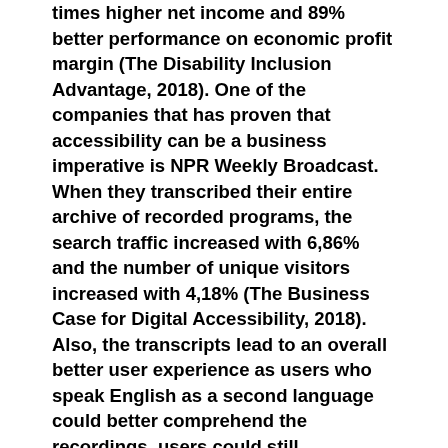times higher net income and 89% better performance on economic profit margin (The Disability Inclusion Advantage, 2018). One of the companies that has proven that accessibility can be a business imperative is NPR Weekly Broadcast. When they transcribed their entire archive of recorded programs, the search traffic increased with 6,86% and the number of unique visitors increased with 4,18% (The Business Case for Digital Accessibility, 2018). Also, the transcripts lead to an overall better user experience as users who speak English as a second language could better comprehend the recordings, users could still understand the recordings in noisy environments and the ability arose to search text in order to reference a specific section of audio. Altogether, this example of NPR Weekly Broadcast shows that making your products and/or services more accessible for people with a disability leads to a better user experience